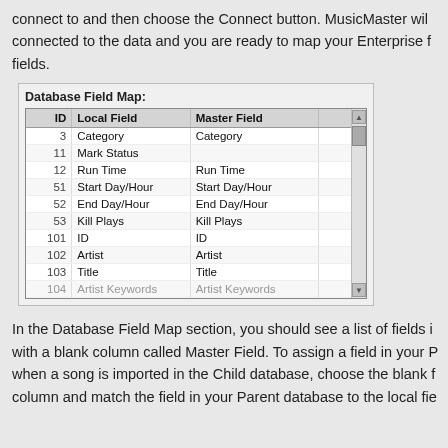connect to and then choose the Connect button. MusicMaster will connected to the data and you are ready to map your Enterprise fields.
[Figure (screenshot): Database Field Map dialog showing a table with columns ID, Local Field, and Master Field. Rows include: 3 Category/Category, 11 Mark Status/(blank), 12 Run Time/Run Time, 51 Start Day/Hour/Start Day/Hour, 52 End Day/Hour/End Day/Hour, 53 Kill Plays/Kill Plays, 101 ID/ID, 102 Artist/Artist, 103 Title/Title, 104 Artist Keywords/Artist Keywords (partially visible).]
In the Database Field Map section, you should see a list of fields with a blank column called Master Field. To assign a field in your when a song is imported in the Child database, choose the blank column and match the field in your Parent database to the local fie